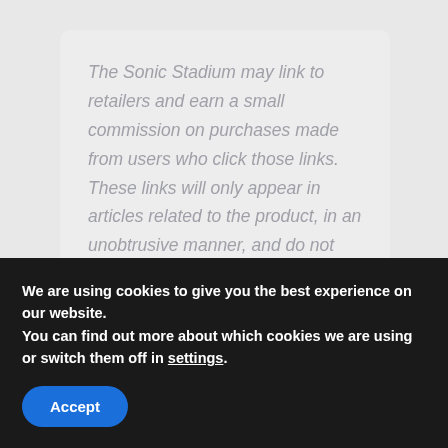The Sonic Stadium may link to retailers and earn a small commission on purchases made from users who click those links. These links will only appear in articles related to the product, in an unobtrusive manner, and do not influence our editorial decisions in any way.
[Figure (photo): Colorful image strip showing game characters]
We are using cookies to give you the best experience on our website.
You can find out more about which cookies we are using or switch them off in settings.
Accept